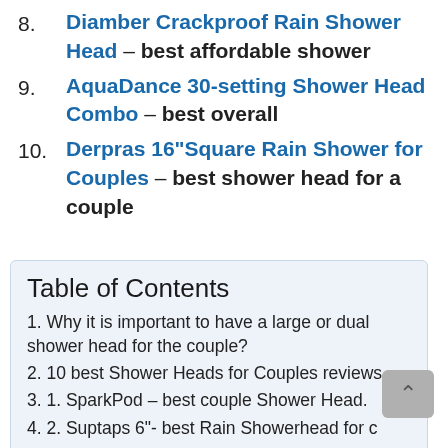8. Diamber Crackproof Rain Shower Head – best affordable shower
9. AquaDance 30-setting Shower Head Combo – best overall
10. Derpras 16"Square Rain Shower for Couples – best shower head for a couple
Table of Contents
1. Why it is important to have a large or dual shower head for the couple?
2. 10 best Shower Heads for Couples reviews.
3. 1. SparkPod – best couple Shower Head.
4. 2. Suptaps 6"- best Rain Showerhead for c...e.
5. 3. Fyeer 16" – best Rainfall Shower Head for